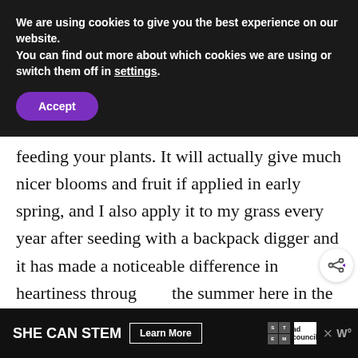We are using cookies to give you the best experience on our website.
You can find out more about which cookies we are using or switch them off in settings.
Accept
feeding your plants. It will actually give much nicer blooms and fruit if applied in early spring, and I also apply it to my grass every year after seeding with a backpack digger and it has made a noticeable difference in heartiness through the summer here in the south. Definitely one shot fix but beneficial IMHO
WHAT'S NEXT → 10 Tips To Stay Safe...
[Figure (screenshot): Ad banner: SHE CAN STEM with Learn More button, STEM logo grid, Ad Council logo, close button, and weather widget icon]